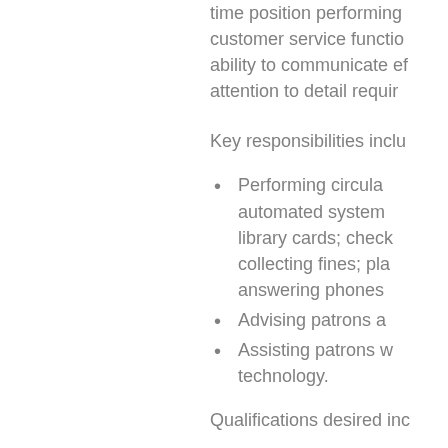time position performing customer service functions; ability to communicate ef attention to detail requir
Key responsibilities inclu
Performing circula automated system library cards; check collecting fines; pla answering phones
Advising patrons a
Assisting patrons w technology.
Qualifications desired inc
High school gradu